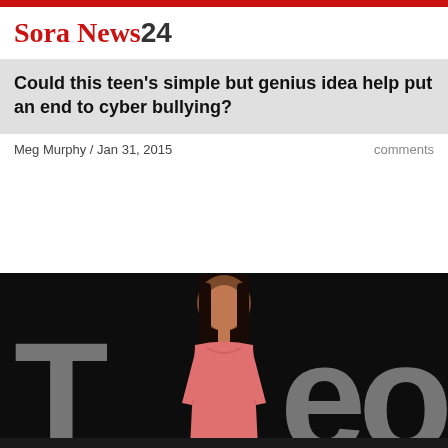SoraNews24
Could this teen's simple but genius idea help put an end to cyber bullying?
Meg Murphy / Jan 31, 2015
comments
[Figure (photo): A young woman standing on a dark stage in front of large TEDx-style letters, wearing a pink top, with long dark hair]